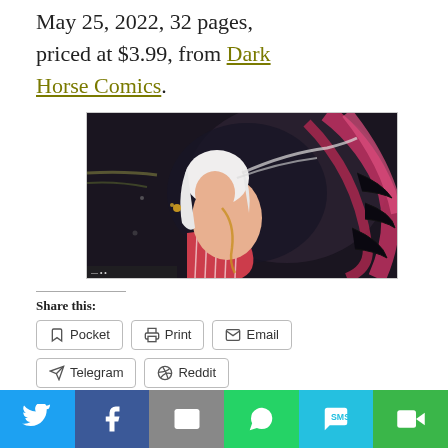May 25, 2022, 32 pages, priced at $3.99, from Dark Horse Comics.
[Figure (illustration): Comic book cover art showing a white-haired anime/manga style woman crouching, surrounded by dark swirling energy, red tentacle-like shapes, and colorful abstract elements.]
Share this:
Pocket
Print
Email
Telegram
Reddit
Twitter | Facebook | Email | WhatsApp | SMS | More